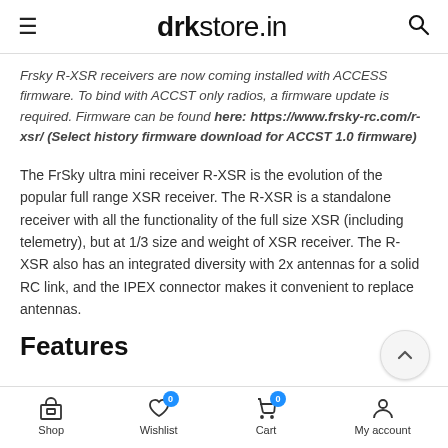drkstore.in
Frsky R-XSR receivers are now coming installed with ACCESS firmware. To bind with ACCST only radios, a firmware update is required. Firmware can be found here: https://www.frsky-rc.com/r-xsr/ (Select history firmware download for ACCST 1.0 firmware)
The FrSky ultra mini receiver R-XSR is the evolution of the popular full range XSR receiver. The R-XSR is a standalone receiver with all the functionality of the full size XSR (including telemetry), but at 1/3 size and weight of XSR receiver. The R-XSR also has an integrated diversity with 2x antennas for a solid RC link, and the IPEX connector makes it convenient to replace antennas.
Features
Shop   Wishlist   Cart   My account